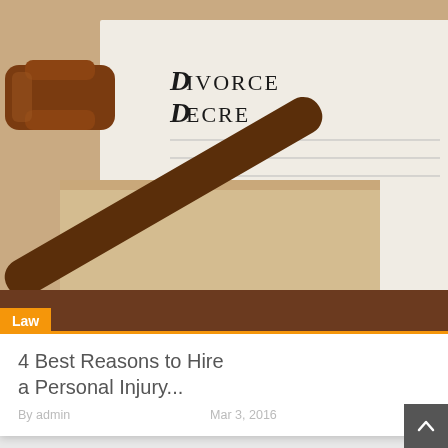[Figure (photo): Photo of a wooden gavel resting on a document labeled 'Divorce Decree', with a brown envelope in the background. Orange 'Law' category label at the bottom left of the image.]
4 Best Reasons to Hire a Personal Injury...
By admin   Mar 3, 2016
[Figure (other): Google Plus (G+) social sharing button icon, red circle with white G+ text]
ARCHIVES
Select Month